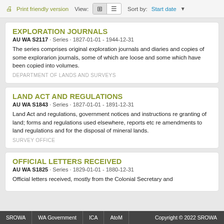Print friendly version  View:  Sort by: Start date
EXPLORATION JOURNALS
AU WA S2117 · Series · 1827-01-01 - 1944-12-31
The series comprises original exploration journals and diaries and copies of some explorarion journals, some of which are loose and some which have been copied into volumes.
DEPARTMENT OF LANDS AND SURVEYS
LAND ACT AND REGULATIONS
AU WA S1843 · Series · 1827-01-01 - 1891-12-31
Land Act and regulations, government notices and instructions re granting of land; forms and regulations used elsewhere, reports etc re amendments to land regulations and for the disposal of mineral lands.
SURVEY OFFICE
OFFICIAL LETTERS RECEIVED
AU WA S1825 · Series · 1829-01-01 - 1880-12-31
Official letters received, mostly from the Colonial Secretary and
SROWA  WA Government  ICA  AtoM  Copyright © 2022 SROWA